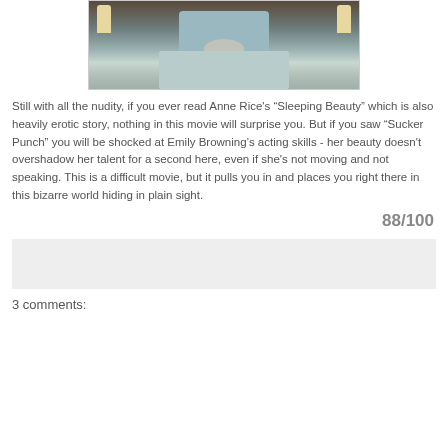[Figure (photo): A person lying in a large bed with a blue-green headboard, flanked by nightstands with lamps, in a dark wood-paneled room. The scene appears cinematic.]
Still with all the nudity, if you ever read Anne Rice's “Sleeping Beauty” which is also heavily erotic story, nothing in this movie will surprise you. But if you saw “Sucker Punch” you will be shocked at Emily Browning’s acting skills - her beauty doesn't overshadow her talent for a second here, even if she's not moving and not speaking. This is a difficult movie, but it pulls you in and places you right there in this bizarre world hiding in plain sight.
88/100
[Figure (other): A light gray rectangular comment input box area.]
3 comments: